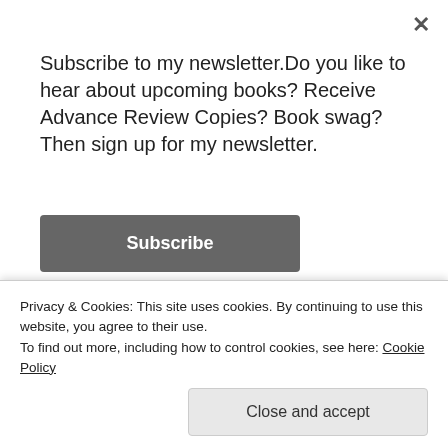×
Subscribe to my newsletter.Do you like to hear about upcoming books? Receive Advance Review Copies? Book swag? Then sign up for my newsletter.
Subscribe
[Figure (illustration): Book cover for 'It Happened at Porcupine Ridge' by Melissa and Gareth Sweet Romance, showing a romantic scene with a pink ribbon/sash and rocky landscape at bottom]
Privacy & Cookies: This site uses cookies. By continuing to use this website, you agree to their use.
To find out more, including how to control cookies, see here: Cookie Policy
Close and accept